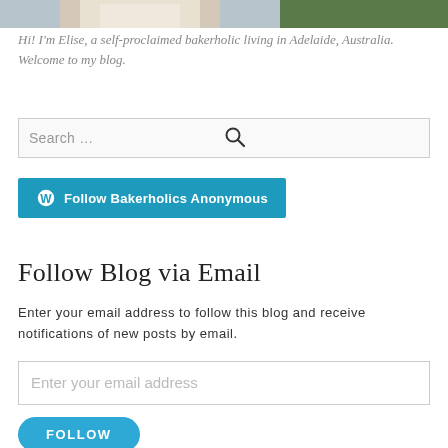[Figure (photo): Partial photo of a person, cropped at top of page]
Hi! I'm Elise, a self-proclaimed bakerholic living in Adelaide, Australia. Welcome to my blog.
[Figure (screenshot): Search input box with placeholder 'Search ...' and a search icon]
[Figure (screenshot): WordPress follow button: Follow Bakerholics Anonymous]
Follow Blog via Email
Enter your email address to follow this blog and receive notifications of new posts by email.
[Figure (screenshot): Email input field with placeholder 'Enter your email address']
[Figure (screenshot): FOLLOW button (blue, rounded)]